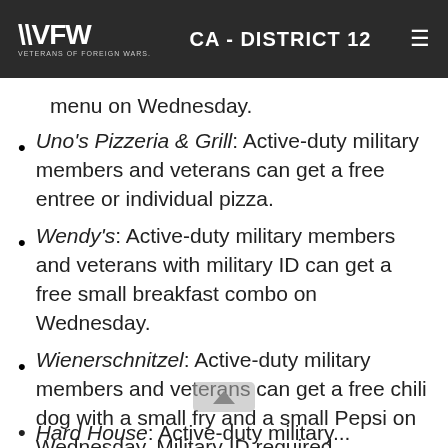VFW VETERANS OF FOREIGN WARS. CA - DISTRICT 12
menu on Wednesday.
Uno's Pizzeria & Grill: Active-duty military members and veterans can get a free entree or individual pizza.
Wendy's: Active-duty military members and veterans with military ID can get a free small breakfast combo on Wednesday.
Wienerschnitzel: Active-duty military members and veterans can get a free chili dog with a small fry and a small Pepsi on Wednesday. Military ID required.
Hard House: Active-duty military...